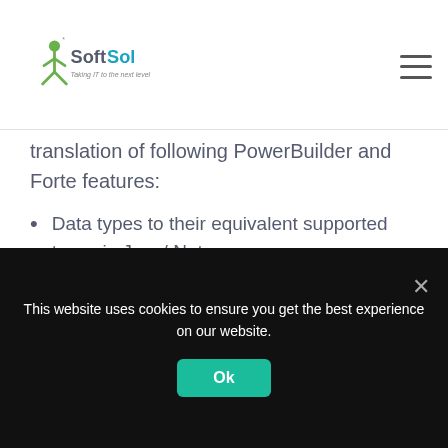SoftSol — Taking IT to the next level
translation of following PowerBuilder and Forte features:
Data types to their equivalent supported types in Java/.Net
Statements and expressions
Event-handling framework
Transaction management
Embedded as well as dynamic SQL statements
This website uses cookies to ensure you get the best experience on our website.